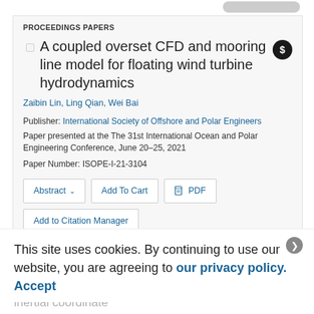PROCEEDINGS PAPERS
A coupled overset CFD and mooring line model for floating wind turbine hydrodynamics
Zaibin Lin, Ling Qian, Wei Bai
Publisher: International Society of Offshore and Polar Engineers
Paper presented at the The 31st International Ocean and Polar Engineering Conference, June 20–25, 2021
Paper Number: ISOPE-I-21-3104
This site uses cookies. By continuing to use our website, you are agreeing to our privacy policy. Accept
ing a fully nonlinear potential flow model in the non-inertial coordinate